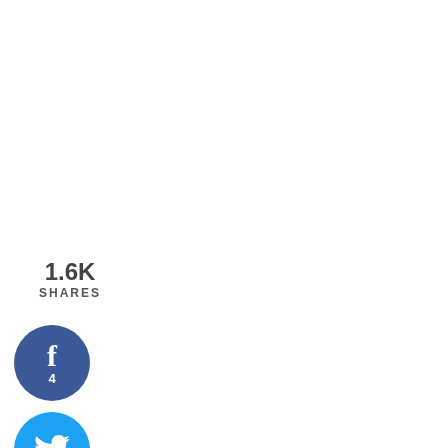1.6K
SHARES
[Figure (infographic): Facebook share button circle (blue) with 'f' icon and count '4']
[Figure (infographic): Twitter share button circle (light blue) with bird icon]
[Figure (infographic): comments header with watercolor brush stroke background in blue/beige, cursive text 'comments']
[Figure (infographic): Pinterest share button circle (red) with 'P' icon and count '1.2K']
[Figure (infographic): Yummly share button circle (orange) with 'yum' text]
[Figure (photo): Grey silhouette avatar placeholder for commenter]
Noelle (@singerinkitchen) says
February 21, 2012 at 11:12 am
Barilla Whole Grain does not TASTE grainy! Even though my hubby refuses to try it, I love it and I